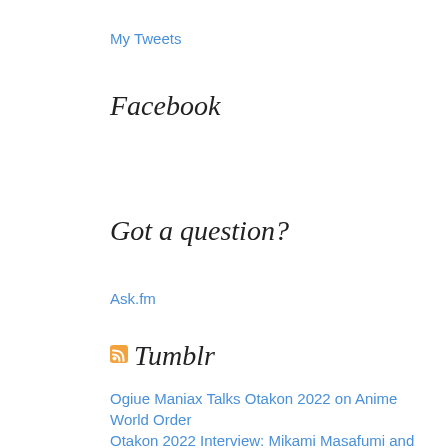My Tweets
Facebook
Got a question?
Ask.fm
Tumblr
Ogiue Maniax Talks Otakon 2022 on Anime World Order
Otakon 2022 Interview: Mikami Masafumi and Kiral